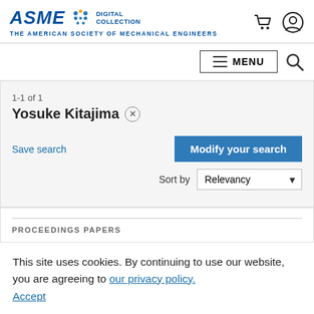ASME DIGITAL COLLECTION — THE AMERICAN SOCIETY OF MECHANICAL ENGINEERS
1-1 of 1
Yosuke Kitajima ×
Save search
Modify your search
Sort by Relevancy
PROCEEDINGS PAPERS
Numerical Estimation of the Unsteady Force on Rotor
This site uses cookies. By continuing to use our website, you are agreeing to our privacy policy. Accept